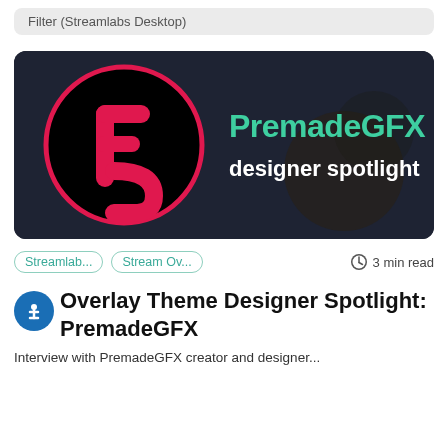Filter (Streamlabs Desktop)
[Figure (logo): PremadeGFX designer spotlight banner with dark background. Left side shows a black circle with red border containing the PremadeGFX logo (red letter F-shape). Right side shows 'PremadeGFX' in teal/green bold text and 'designer spotlight' in white text below.]
Streamlab...
Stream Ov...
3 min read
Overlay Theme Designer Spotlight: PremadeGFX
Interview with PremadeGFX creator and designer...